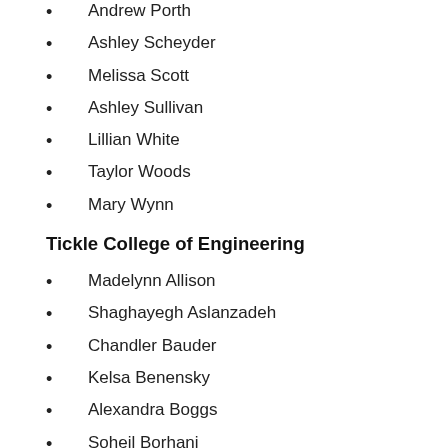Andrew Porth
Ashley Scheyder
Melissa Scott
Ashley Sullivan
Lillian White
Taylor Woods
Mary Wynn
Tickle College of Engineering
Madelynn Allison
Shaghayegh Aslanzadeh
Chandler Bauder
Kelsa Benensky
Alexandra Boggs
Soheil Borhani